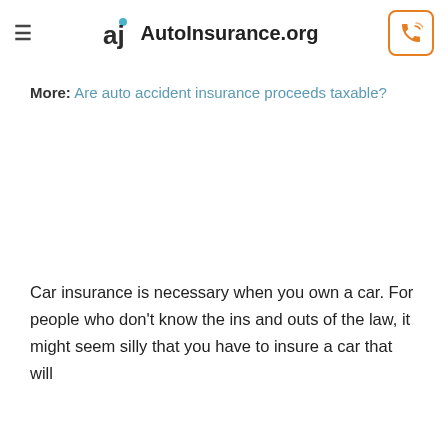AutoInsurance.org
More: Are auto accident insurance proceeds taxable?
Car insurance is necessary when you own a car. For people who don't know the ins and outs of the law, it might seem silly that you have to insure a car that will